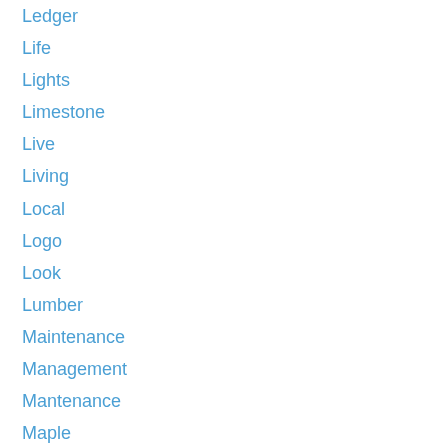Ledger
Life
Lights
Limestone
Live
Living
Local
Logo
Look
Lumber
Maintenance
Management
Mantenance
Maple
Master
Material
Mig
Mind
Mix
Moisture